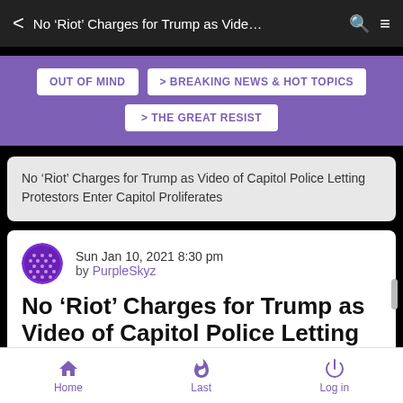No ‘Riot’ Charges for Trump as Vide…
OUT OF MIND
> BREAKING NEWS & HOT TOPICS
> THE GREAT RESIST
No ‘Riot’ Charges for Trump as Video of Capitol Police Letting Protestors Enter Capitol Proliferates
Sun Jan 10, 2021 8:30 pm
by PurpleSkyz
No ‘Riot’ Charges for Trump as Video of Capitol Police Letting